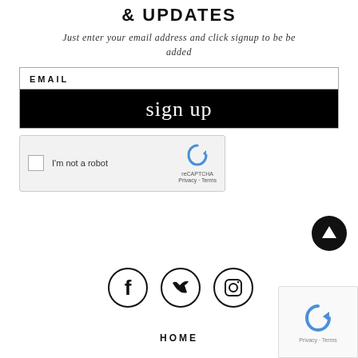& UPDATES
Just enter your email address and click signup to be be added
[Figure (screenshot): Email signup form with EMAIL input field and black 'sign up' button with cursive white text]
[Figure (screenshot): reCAPTCHA widget with checkbox 'I'm not a robot' and reCAPTCHA logo]
[Figure (infographic): Scroll-to-top button (dark circle with up arrow)]
[Figure (infographic): Social media icons: Facebook, Twitter, Instagram in circles]
HOME